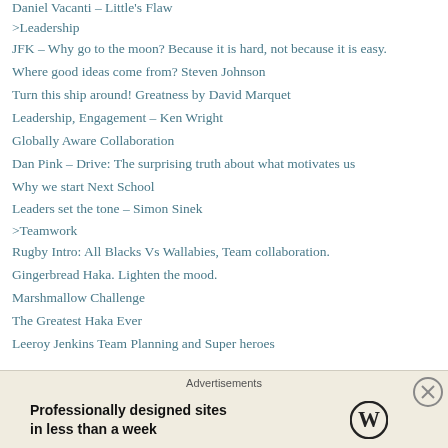Daniel Vacanti – Little's Flaw
>Leadership
JFK – Why go to the moon? Because it is hard, not because it is easy.
Where good ideas come from? Steven Johnson
Turn this ship around! Greatness by David Marquet
Leadership, Engagement – Ken Wright
Globally Aware Collaboration
Dan Pink – Drive: The surprising truth about what motivates us
Why we start Next School
Leaders set the tone – Simon Sinek
>Teamwork
Rugby Intro: All Blacks Vs Wallabies, Team collaboration.
Gingerbread Haka. Lighten the mood.
Marshmallow Challenge
The Greatest Haka Ever
Leeroy Jenkins Team Planning and Super heroes
Advertisements
Professionally designed sites in less than a week